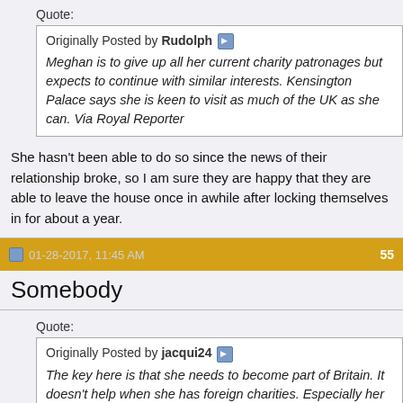Quote:
Originally Posted by Rudolph
Meghan is to give up all her current charity patronages but expects to continue with similar interests. Kensington Palace says she is keen to visit as much of the UK as she can. Via Royal Reporter
She hasn't been able to do so since the news of their relationship broke, so I am sure they are happy that they are able to leave the house once in awhile after locking themselves in for about a year.
01-28-2017, 11:45 AM   55
Somebody
Quote:
Originally Posted by jacqui24
The key here is that she needs to become part of Britain. It doesn't help when she has foreign charities. Especially her UN was advocate for women's political participation. It might rub some the wrong way as the royals are expected to stay out of the political sphere.
Well, I guess that's how the court sees it. I would say that she of